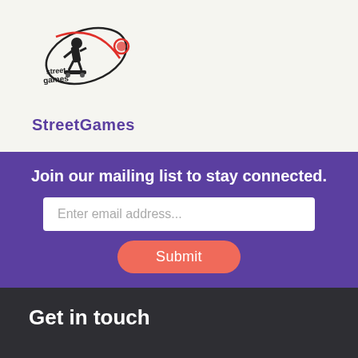[Figure (logo): StreetGames logo: stylized figure with 'street games' text and red orbital ring]
StreetGames
Join our mailing list to stay connected.
Enter email address...
Submit
Get in touch